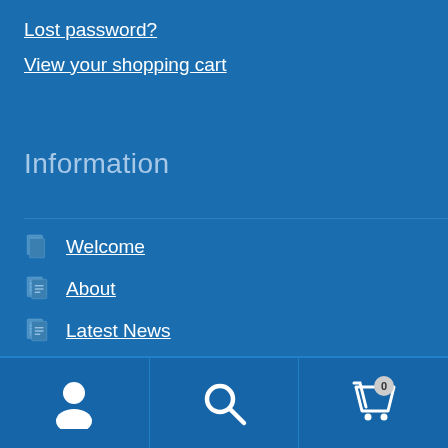Lost password?
View your shopping cart
Information
Welcome
About
Latest News
Terms & Conditions
Contact Us
[Figure (screenshot): Bottom navigation bar with user account icon, search icon, and shopping cart icon with badge showing 0]